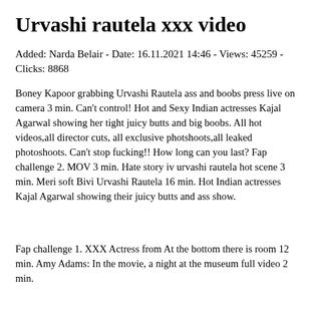Urvashi rautela xxx video
Added: Narda Belair - Date: 16.11.2021 14:46 - Views: 45259 - Clicks: 8868
Boney Kapoor grabbing Urvashi Rautela ass and boobs press live on camera 3 min. Can't control! Hot and Sexy Indian actresses Kajal Agarwal showing her tight juicy butts and big boobs. All hot videos,all director cuts, all exclusive photshoots,all leaked photoshoots. Can't stop fucking!! How long can you last? Fap challenge 2. MOV 3 min. Hate story iv urvashi rautela hot scene 3 min. Meri soft Bivi Urvashi Rautela 16 min. Hot Indian actresses Kajal Agarwal showing their juicy butts and ass show.
Fap challenge 1. XXX Actress from At the bottom there is room 12 min. Amy Adams: In the movie, a night at the museum full video 2 min.
Sara Ali Sex Scene 10 min. Indian Actress Awesome Nude Video 5